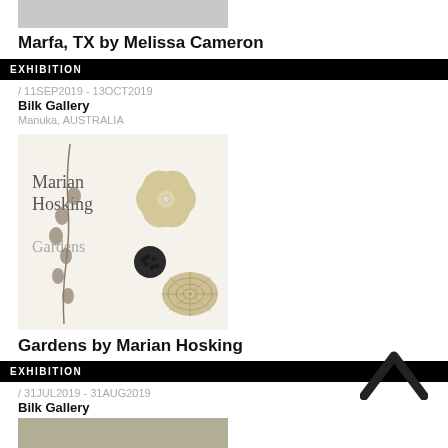[Figure (photo): Partial top image cropped, grey/light artwork photo]
Marfa, TX by Melissa Cameron
EXHIBITION
/ 11SEP2019 - 13OCT2019
Bilk Gallery
Manuka, AUSTRALIA
[Figure (photo): Marian Hosking Gardens exhibition catalogue cover showing botanical jewelry pieces including a flower brooch, seed pod necklace, and sea urchin form on white background]
Gardens by Marian Hosking
EXHIBITION
/ 31JUL2019 - 31AUG2019
Bilk Gallery
Manuka, AUSTRALIA
[Figure (other): Up arrow chevron icon for scroll to top]
[Figure (photo): Partial bottom image cropped, olive/grey artwork photo]